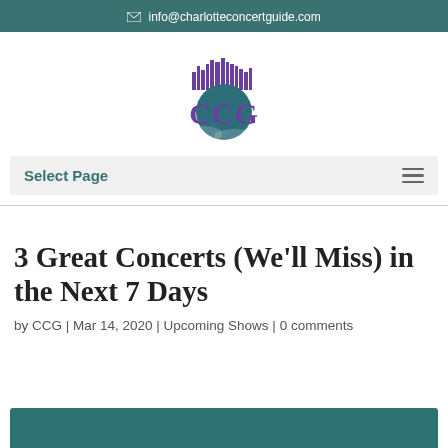✉ info@charlotteconcertguide.com
[Figure (logo): Charlotte Concert Guide (CCG) logo with skyline and stylized CCG letters in purple and teal]
Select Page
3 Great Concerts (We'll Miss) in the Next 7 Days
by CCG | Mar 14, 2020 | Upcoming Shows | 0 comments
[Figure (photo): Teal/dark green background image at bottom of page]